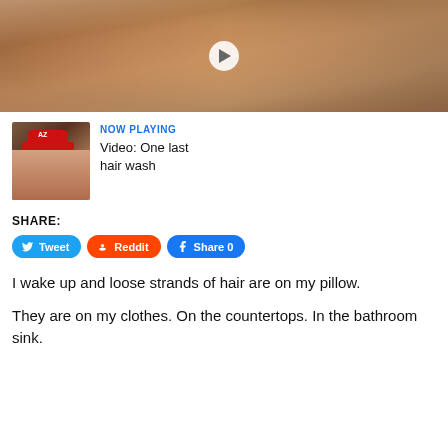[Figure (photo): Main video still: woman in red top holding her hair, shown from shoulders up, white shutters visible in background]
[Figure (photo): Thumbnail: woman wearing red AZ baseball cap. NOW PLAYING label in blue text beside it.]
Video: One last hair wash
SHARE:
Tweet  Reddit  Share 0
I wake up and loose strands of hair are on my pillow.
They are on my clothes. On the countertops. In the bathroom sink.